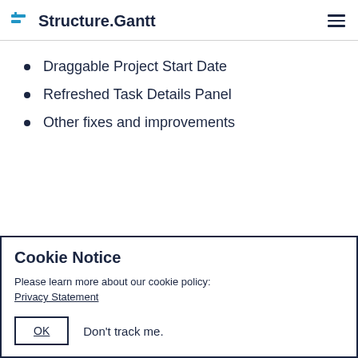Structure.Gantt
Draggable Project Start Date
Refreshed Task Details Panel
Other fixes and improvements
Cookie Notice
Please learn more about our cookie policy:
Privacy Statement
OK   Don't track me.